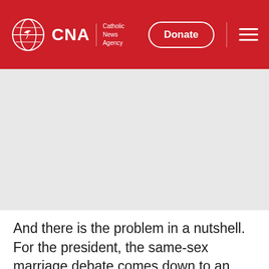[Figure (logo): CNA Catholic News Agency logo with globe icon, Donate button, and hamburger menu on red header background]
[Figure (other): Gray advertisement or image placeholder area below the header]
And there is the problem in a nutshell. For the president, the same-sex marriage debate comes down to an argument about words. But words